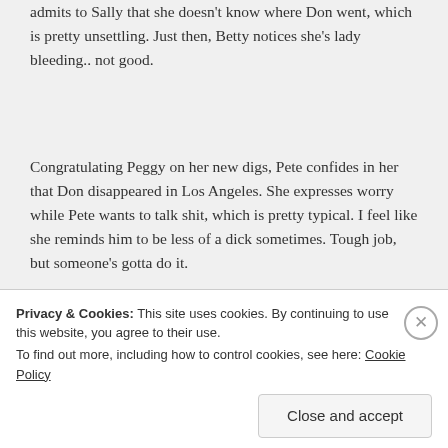admits to Sally that she doesn't know where Don went, which is pretty unsettling. Just then, Betty notices she's lady bleeding.. not good.
Congratulating Peggy on her new digs, Pete confides in her that Don disappeared in Los Angeles. She expresses worry while Pete wants to talk shit, which is pretty typical. I feel like she reminds him to be less of a dick sometimes. Tough job, but someone's gotta do it.
[Figure (photo): A wide panoramic photo showing a figure standing on a beach near the ocean, with waves in the foreground and a hazy sky. The image has a warm sepia/brown tone.]
Privacy & Cookies: This site uses cookies. By continuing to use this website, you agree to their use.
To find out more, including how to control cookies, see here: Cookie Policy